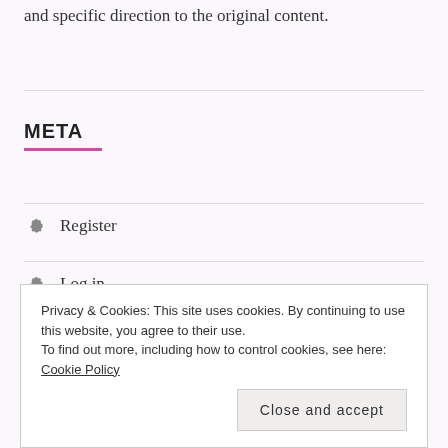and specific direction to the original content.
META
Register
Log in
Entries feed
Privacy & Cookies: This site uses cookies. By continuing to use this website, you agree to their use. To find out more, including how to control cookies, see here: Cookie Policy
Close and accept